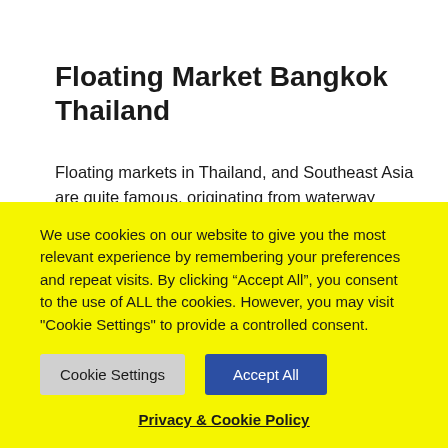Floating Market Bangkok Thailand
Floating markets in Thailand, and Southeast Asia are quite famous, originating from waterway lifestyles. Basically vendors who peddle their wares from canoes or kayaks directly to other river users.
For a big one that's only opened weekends visit the
We use cookies on our website to give you the most relevant experience by remembering your preferences and repeat visits. By clicking “Accept All”, you consent to the use of ALL the cookies. However, you may visit "Cookie Settings" to provide a controlled consent.
Cookie Settings | Accept All
Privacy & Cookie Policy